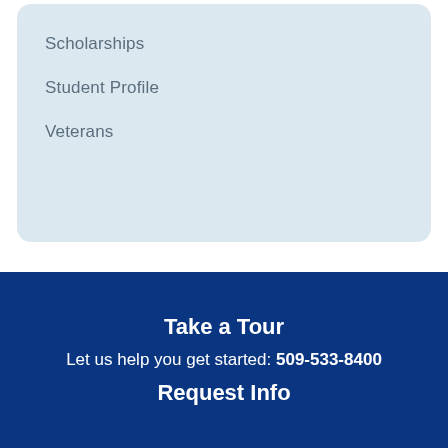Scholarships
Student Profile
Veterans
Take a Tour
Let us help you get started: 509-533-8400
Request Info